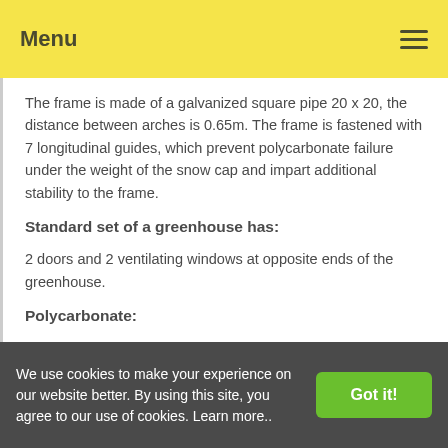Menu
The frame is made of a galvanized square pipe 20 x 20, the distance between arches is 0.65m. The frame is fastened with 7 longitudinal guides, which prevent polycarbonate failure under the weight of the snow cap and impart additional stability to the frame.
Standard set of a greenhouse has:
2 doors and 2 ventilating windows at opposite ends of the greenhouse.
Polycarbonate:
Standard polycarbonate sheet is 6 metres long, 2.1 metre wide and 4mm thick. It has a layer of UV protection on the
We use cookies to make your experience on our website better. By using this site, you agree to our use of cookies. Learn more..